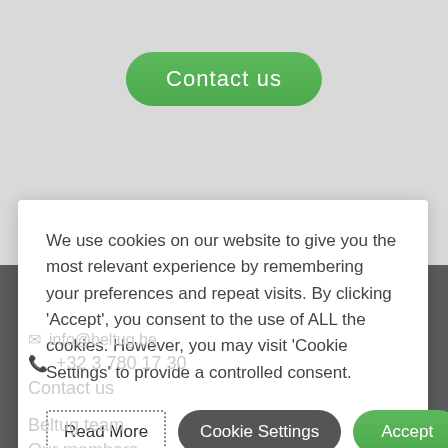[Figure (screenshot): Green rounded 'Contact us' button on light grey background]
We use cookies on our website to give you the most relevant experience by remembering your preferences and repeat visits. By clicking 'Accept', you consent to the use of ALL the cookies. However, you may visit 'Cookie Settings' to provide a controlled consent.
[Figure (screenshot): Three buttons: 'Read More' (dotted border), 'Cookie Settings' (dark grey rounded), 'Accept' (green rounded)]
info@beltug.be
+32 3 780 17 30
Contact us
Beltug team
Our members